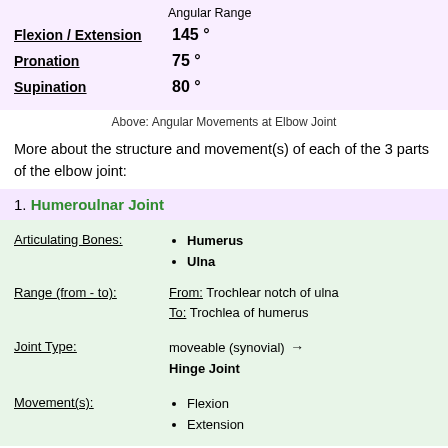|  | Angular Range |
| --- | --- |
| Flexion / Extension | 145 ° |
| Pronation | 75 ° |
| Supination | 80 ° |
Above: Angular Movements at Elbow Joint
More about the structure and movement(s) of each of the 3 parts of the elbow joint:
1. Humeroulnar Joint
Articulating Bones: Humerus, Ulna
Range (from - to): From: Trochlear notch of ulna  To: Trochlea of humerus
Joint Type: moveable (synovial) → Hinge Joint
Movement(s): Flexion, Extension
2. Humeroradial Joint